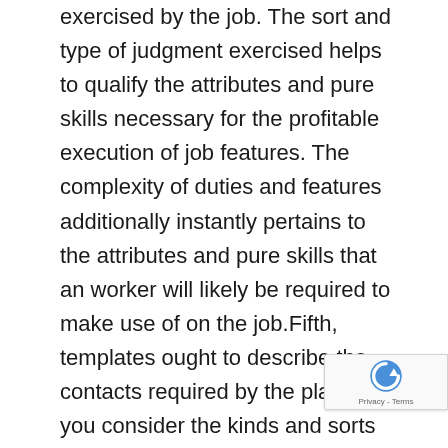exercised by the job. The sort and type of judgment exercised helps to qualify the attributes and pure skills necessary for the profitable execution of job features. The complexity of duties and features additionally instantly pertains to the attributes and pure skills that an worker will likely be required to make use of on the job.Fifth, templates ought to describe the contacts required by the place. As you consider the kinds and sorts of contacts needed for the worker to carry out the job successfully, it's essential to decide frequency of contact, methodology or medium of contact (verbal, written), and the aim of the contact.Sixth, templates ought to consider the job's environmental necessities you must perceive these relate each to these important job features you listed earlier, and tie-in on to the necessity for